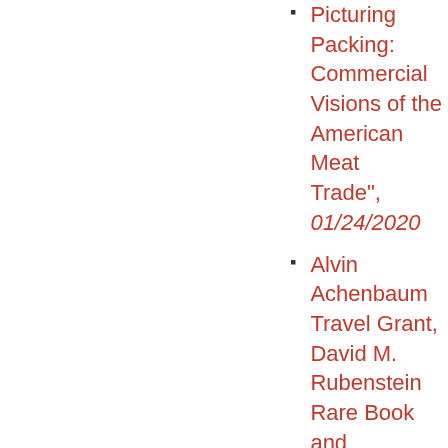Picturing Packing: Commercial Visions of the American Meat Trade", 01/24/2020
Alvin Achenbaum Travel Grant, David M. Rubenstein Rare Book and Manuscript Library, Duke University., 01/06/2020
Morgan, Emily Kathryn, "Th...